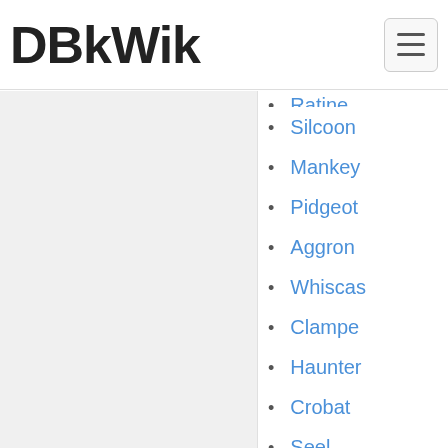DBkWik
Ratine (partially visible)
Silcoon
Mankey
Pidgeot
Aggron
Whiscas
Clampe
Haunter
Crobat
Seel
Chincho
Slaking
Infernap
Mudkip
Grumpig
Swanna
Espeon
Wurmpl
Grotle
Sentret
Rhyhorn (partially visible)